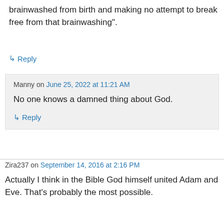brainwashed from birth and making no attempt to break free from that brainwashing".
↳ Reply
Manny on June 25, 2022 at 11:21 AM
No one knows a damned thing about God.
↳ Reply
Zira237 on September 14, 2016 at 2:16 PM
Actually I think in the Bible God himself united Adam and Eve. That's probably the most possible.